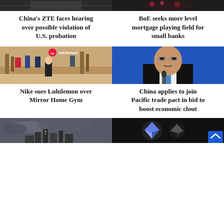[Figure (photo): Top row left: dark image showing people (partial, cropped at top)]
[Figure (photo): Top row right: dark image showing flowers (partial, cropped at top)]
China's ZTE faces hearing over possible violation of U.S. probation
BoE seeks more level mortgage playing field for small banks
[Figure (photo): Lululemon store interior with lululemon logo overlay]
[Figure (photo): Chinese official speaking at a podium in front of blue background]
Nike sues Lululemon over Mirror Home Gym
China applies to join Pacific trade pact in bid to boost economic clout
[Figure (photo): Bottom left: city skyline with dark cloudy sky]
[Figure (photo): Bottom right: Ethereum crypto coin with scroll-up button overlay]